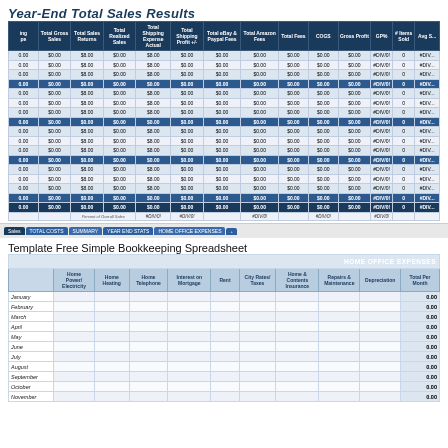Year-End Total Sales Results
[Figure (screenshot): Excel spreadsheet screenshot showing Year-End Total Sales Results table with columns for Total Gross Sales, Total Sales Returns, Total Realized Sales, Total Shipping Expense Actual, Total Shipping Profit +/-, Total eBay & Paypal Fees, Total Amazon Fees, Total Fees, COGS, Gross Profit, GP%, # Items Sold, Avg Sale. Rows grouped by quarters/months with subtotals and grand totals, values showing $0.00 and #DIV/0! errors.]
Template Free Simple Bookkeeping Spreadsheet
| HOME OFFICE EXPENSES |  |  |  |  |  |  |  |  |  |  |
| --- | --- | --- | --- | --- | --- | --- | --- | --- | --- | --- |
|  | Home Power/ Electricity | Home Heating | Home Telephone | Interest on Mortgage | Rent | City Rates/ Taxes | Home & Contents Insurance | Repairs & Maintenance | Depreciation | Total Per Month |
| January |  |  |  |  |  |  |  |  |  | 0.00 |
| February |  |  |  |  |  |  |  |  |  | 0.00 |
| March |  |  |  |  |  |  |  |  |  | 0.00 |
| April |  |  |  |  |  |  |  |  |  | 0.00 |
| May |  |  |  |  |  |  |  |  |  | 0.00 |
| June |  |  |  |  |  |  |  |  |  | 0.00 |
| July |  |  |  |  |  |  |  |  |  | 0.00 |
| August |  |  |  |  |  |  |  |  |  | 0.00 |
| September |  |  |  |  |  |  |  |  |  | 0.00 |
| October |  |  |  |  |  |  |  |  |  | 0.00 |
| November |  |  |  |  |  |  |  |  |  | 0.00 |